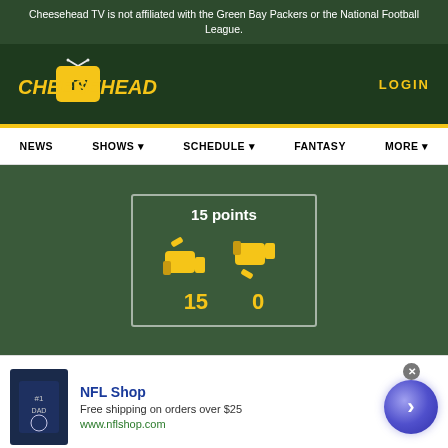Cheesehead TV is not affiliated with the Green Bay Packers or the National Football League.
[Figure (logo): Cheesehead TV logo with stylized yellow text and TV icon]
LOGIN
NEWS  SHOWS  SCHEDULE  FANTASY  MORE
[Figure (infographic): Vote widget showing 15 points with thumbs up (15) and thumbs down (0) icons in a white-bordered box]
[Figure (screenshot): NFL Shop advertisement with t-shirt image, Free shipping on orders over $25, www.nflshop.com]